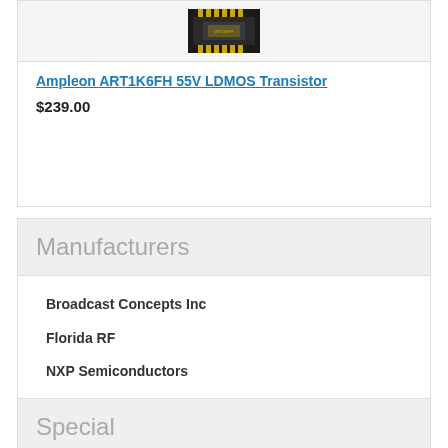[Figure (photo): Electronic chip/transistor component photo — gold leads on black package]
Ampleon ART1K6FH 55V LDMOS Transistor
$239.00
Manufacturers
Broadcast Concepts Inc
Florida RF
NXP Semiconductors
Ampleon USA
Sira Sistemi Radio
Cornell Dubilier
P1dB
Qorvo
Smiths Interconnect – EMC
Special